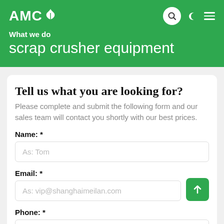AMC
What we do
scrap crusher equipment
Tell us what you are looking for?
Please complete and submit the following form and our sales team will contact you shortly with our best prices.
Name: *
As: Tom
Email: *
As: vip@shanghaimeilan.com
Phone: *
With Country Code